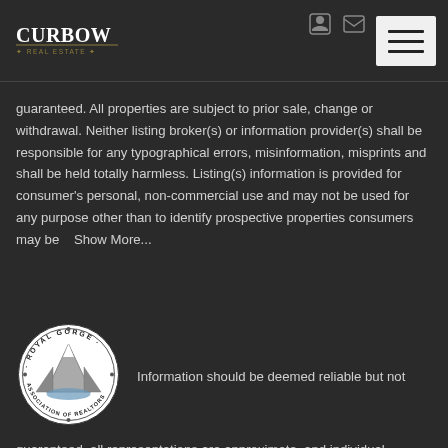[Figure (logo): Curbow Real Estate logo - dark background with white text]
guaranteed. All properties are subject to prior sale, change or withdrawal. Neither listing broker(s) or information provider(s) shall be responsible for any typographical errors, misinformation, misprints and shall be held totally harmless. Listing(s) information is provided for consumer's personal, non-commercial use and may not be used for any purpose other than to identify prospective properties consumers may be   Show More...
[Figure (logo): Royal Gorge Association of Realtors circular seal/logo]
Information should be deemed reliable but not guaranteed, all representations are approximate, and individual